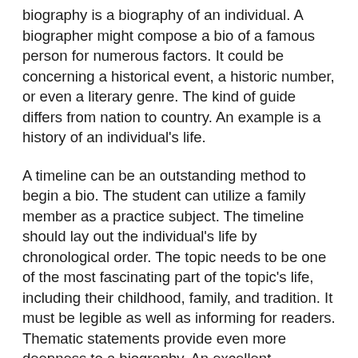biography is a biography of an individual. A biographer might compose a bio of a famous person for numerous factors. It could be concerning a historical event, a historic number, or even a literary genre. The kind of guide differs from nation to country. An example is a history of an individual's life.
A timeline can be an outstanding method to begin a bio. The student can utilize a family member as a practice subject. The timeline should lay out the individual's life by chronological order. The topic needs to be one of the most fascinating part of the topic's life, including their childhood, family, and tradition. It must be legible as well as informing for readers. Thematic statements provide even more deepness to a biography. An excellent biographical statement is a reflection of the writer's personality.
An excellent bio needs to be engaging and also useful. It needs to include information regarding the topic's childhood years, family members, and heritage. The writer must also include